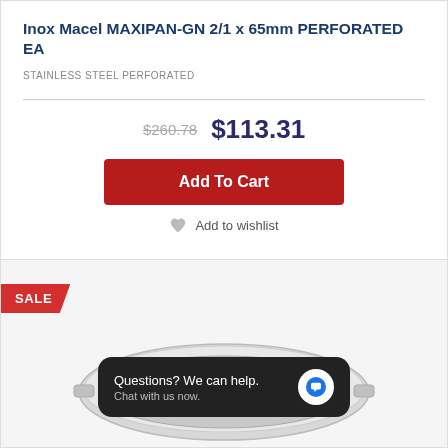Inox Macel MAXIPAN-GN 2/1 x 65mm PERFORATED EA
STAINLESS STEEL PERFORATED
$260.78  $113.31
Add To Cart
Add to wishlist
SALE
[Figure (photo): Stainless steel perforated gastronorm pan viewed from above at an angle, showing perforated surface and handles]
Questions? We can help. Chat with us now.